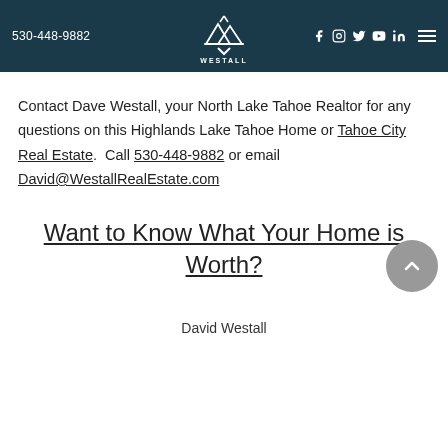530-448-9882 | Westall Real Estate Team | Facebook Instagram Twitter YouTube LinkedIn
Contact Dave Westall, your North Lake Tahoe Realtor for any questions on this Highlands Lake Tahoe Home or Tahoe City Real Estate.  Call 530-448-9882 or email David@WestallRealEstate.com
Want to Know What Your Home is Worth?
David Westall